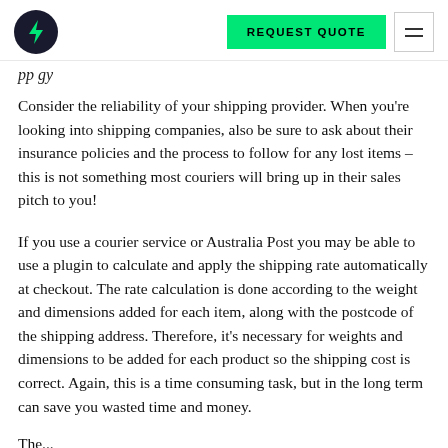REQUEST QUOTE [logo and menu]
pp gy
Consider the reliability of your shipping provider. When you're looking into shipping companies, also be sure to ask about their insurance policies and the process to follow for any lost items – this is not something most couriers will bring up in their sales pitch to you!
If you use a courier service or Australia Post you may be able to use a plugin to calculate and apply the shipping rate automatically at checkout. The rate calculation is done according to the weight and dimensions added for each item, along with the postcode of the shipping address. Therefore, it's necessary for weights and dimensions to be added for each product so the shipping cost is correct. Again, this is a time consuming task, but in the long term can save you wasted time and money.
The...